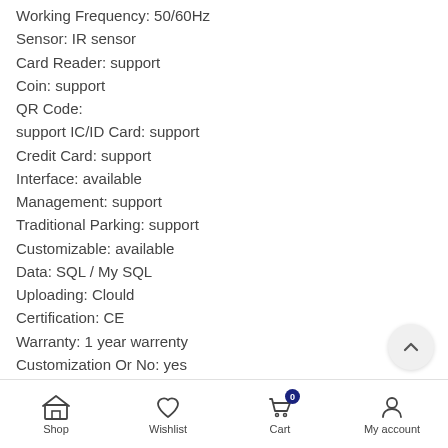Working Frequency: 50/60Hz
Sensor: IR sensor
Card Reader: support
Coin: support
QR Code:
support IC/ID Card: support
Credit Card: support
Interface: available
Management: support
Traditional Parking: support
Customizable: available
Data: SQL / My SQL
Uploading: Clould
Certification: CE
Warranty: 1 year warrenty
Customization Or No: yes
Shop | Wishlist | Cart (0) | My account